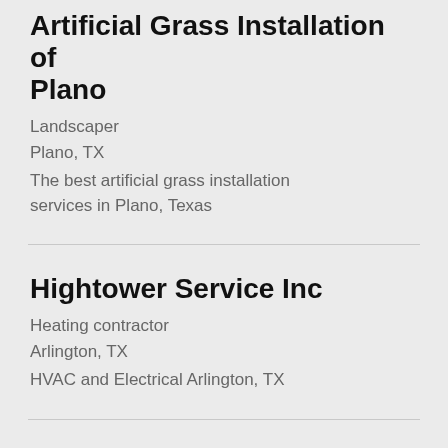Artificial Grass Installation of Plano
Landscaper
Plano, TX
The best artificial grass installation services in Plano, Texas
Hightower Service Inc
Heating contractor
Arlington, TX
HVAC and Electrical Arlington, TX
Mancini Party Rentals
Party equipment rental service